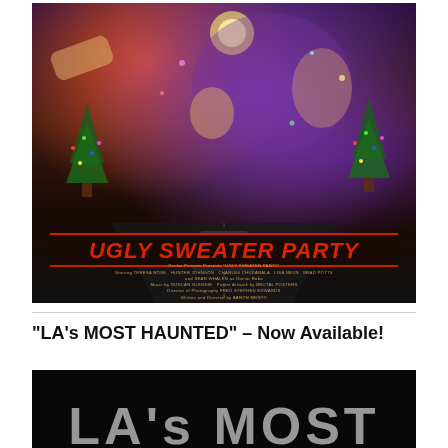[Figure (illustration): Movie poster for 'Ugly Sweater Party' horror-comedy film. Dark background with purple and orange hues showing screaming people, a car on a road, Christmas trees with lights. Large red italic bold title text 'UGLY SWEATER PARTY' on a dark background with red border lines. Credits below listing: Ocular Pictures Presents 'Ugly Sweater Party' Starring Teresa Rose, Hunter Johnson, Charles Chudabala, Lisa Neun, Brad Potts and Sean Whalen as Doctor Rabo. Music by Duncan Glennie. Poster Artwork by Brutal Posters. Director of Photography Fred Stephen Edwards. Written and Directed by Aaron Mento.]
“LA’s MOST HAUNTED” – Now Available!
[Figure (photo): Dark movie poster image for 'LA's Most Haunted' showing large white text letters partially visible at the bottom of the image on a dark/black background.]